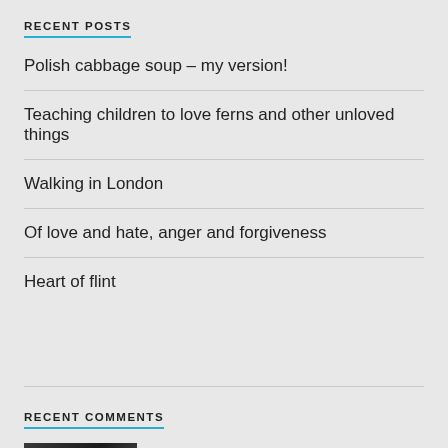RECENT POSTS
Polish cabbage soup – my version!
Teaching children to love ferns and other unloved things
Walking in London
Of love and hate, anger and forgiveness
Heart of flint
RECENT COMMENTS
bumblebee3london on His grandmother's storie...